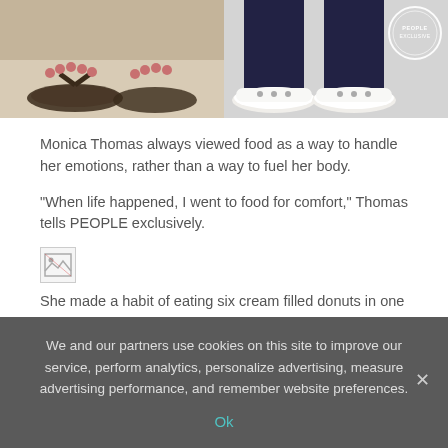[Figure (photo): Two-panel photo of feet/shoes: left panel shows feet in dark flip-flops on a light floor; right panel shows feet in white/silver flat shoes with an EXCLUSIVE badge overlay.]
Monica Thomas always viewed food as a way to handle her emotions, rather than a way to fuel her body.
"When life happened, I went to food for comfort," Thomas tells PEOPLE exclusively.
[Figure (other): Broken/missing image placeholder icon]
She made a habit of eating six cream filled donuts in one sitting, and starting and finishing entire boxes of cereal daily, along with eating her favorite ice cream almost every day.
"I would stock my freezer to feed my addiction for days of gorging," she says.
We and our partners use cookies on this site to improve our service, perform analytics, personalize advertising, measure advertising performance, and remember website preferences.
Ok